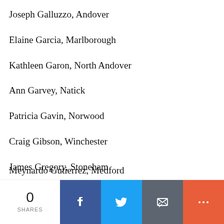Joseph Galluzzo, Andover
Elaine Garcia, Marlborough
Kathleen Garon, North Andover
Ann Garvey, Natick
Anna Gaudet, Newton
Patricia Gavin, Norwood
Craig Gibson, Winchester
James Gregory, Stoneham
Meynardo Gutierrez, Medford